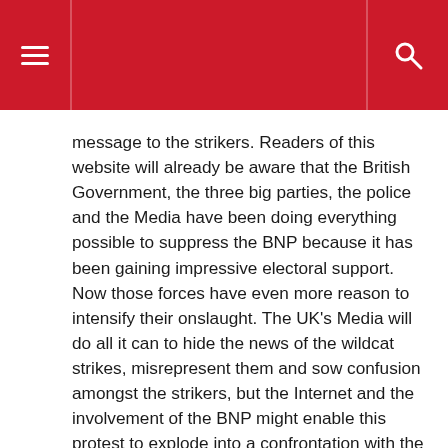Navigation header with menu and search icons
message to the strikers. Readers of this website will already be aware that the British Government, the three big parties, the police and the Media have been doing everything possible to suppress the BNP because it has been gaining impressive electoral support. Now those forces have even more reason to intensify their onslaught. The UK's Media will do all it can to hide the news of the wildcat strikes, misrepresent them and sow confusion amongst the strikers, but the Internet and the involvement of the BNP might enable this protest to explode into a confrontation with the Establishment over immigration. We will be aiming to post truthful news regarding the strikes on this website and also watching closely the parallel political contests that involve the BNP. Next Thursday, the BNP will be contesting a Tameside ward in Manchester and this